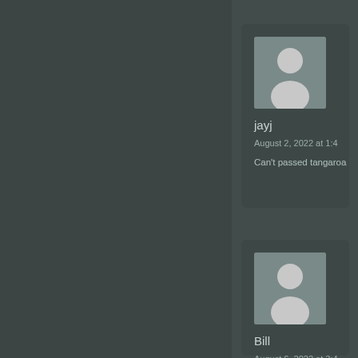[Figure (photo): User avatar placeholder with person silhouette icon, gray background]
jayj
August 2, 2022 at 1:4
Can't passed tangaroa
[Figure (photo): User avatar placeholder with person silhouette icon, gray background]
Bill
August 6, 2022 at 3:4
https://www.avagame